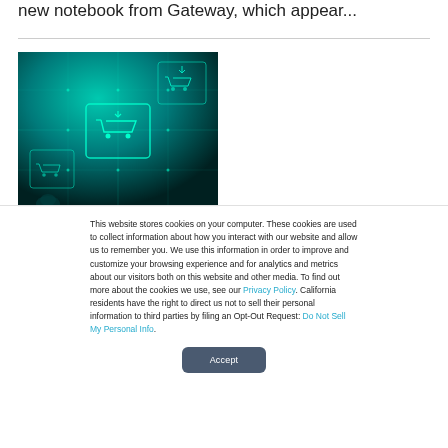new notebook from Gateway, which appear...
[Figure (photo): Dark teal/green digital background with glowing circuit board patterns and shopping cart icons displayed as futuristic digital tiles]
This website stores cookies on your computer. These cookies are used to collect information about how you interact with our website and allow us to remember you. We use this information in order to improve and customize your browsing experience and for analytics and metrics about our visitors both on this website and other media. To find out more about the cookies we use, see our Privacy Policy. California residents have the right to direct us not to sell their personal information to third parties by filing an Opt-Out Request: Do Not Sell My Personal Info.
Accept